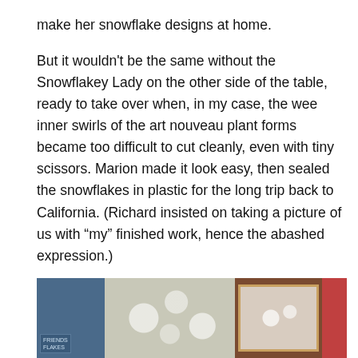make her snowflake designs at home.

But it wouldn't be the same without the Snowflakey Lady on the other side of the table, ready to take over when, in my case, the wee inner swirls of the art nouveau plant forms became too difficult to cut cleanly, even with tiny scissors. Marion made it look easy, then sealed the snowflakes in plastic for the long trip back to California. (Richard insisted on taking a picture of us with “my” finished work, hence the abashed expression.)
[Figure (photo): A photo showing framed snowflake artwork on display, with a bookshelf on the left side. A blue frame visible on the left with a label reading 'Friends Flakes', snowflake designs in the center background, and a gold-framed snowflake artwork on the right against a brown/red wall.]